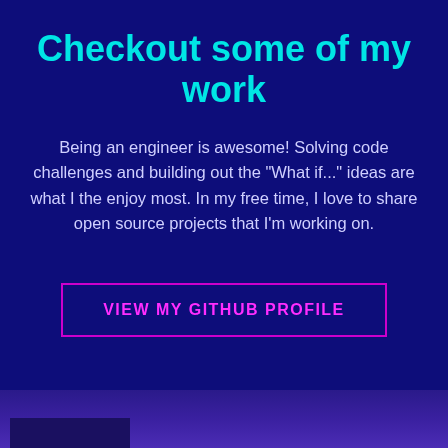Checkout some of my work
Being an engineer is awesome! Solving code challenges and building out the "What if..." ideas are what I the enjoy most. In my free time, I love to share open source projects that I'm working on.
VIEW MY GITHUB PROFILE